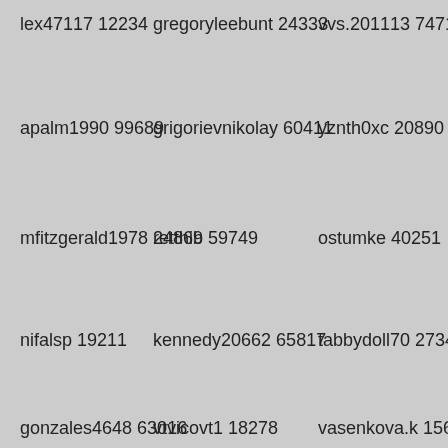lex47117 12234
gregoryleebunt 24333
vvs.201113 74714
apalm1990 99689
grigorievnikolay 60411
yznth0xc 20890
mfitzgerald1978 24869
retthib 59749
ostumke 40251
nifalsp 19211
kennedy20662 65817
tabbydoll70 27344
gonzales4648 63016
vtvicovt1 18278
vasenkova.k 15632